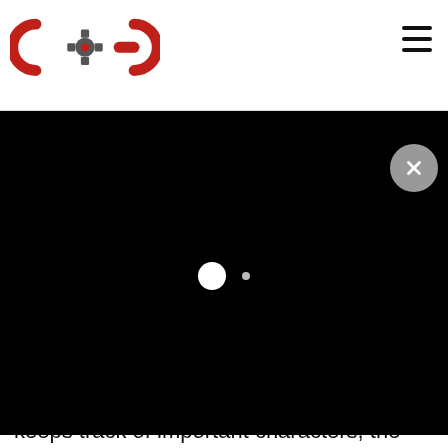COG logo header with hamburger menu
[Figure (other): Black video player overlay with two dots (one large white circle, one small grey dot) centered, and a grey circular close button with X in top right]
featuring a ghost, a ch... y item... a secret portal, ...ion a bit more engaging
The world of ... to explore, Tajunga is beautifully designed and excellently laid out with residents that have a ton of character. While there is a handy Profile section in the pause menu that keeps track of important characters, the five main characters, hands down, steal the show. Beyond their unique skills and abilities, they're also very well developed and likable, and their banter and conversations are always funny and entertaining. Crossing Souls shouldn't last you more than 8-10 hours and it's a journey worth taking just for the characters alone. While it's final act isn't nearly as strong as its beginning and middle, the ending